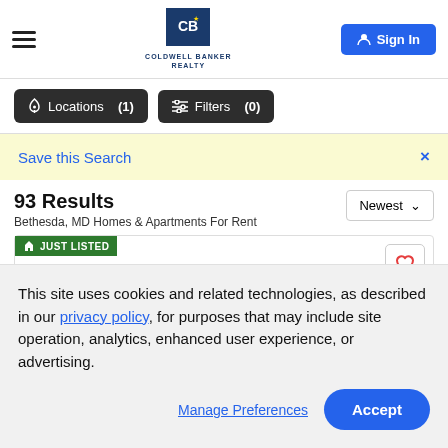Coldwell Banker Realty — Sign In
[Figure (screenshot): Locations (1) and Filters (0) filter buttons]
Save this Search
93 Results
Bethesda, MD Homes & Apartments For Rent
[Figure (screenshot): Just Listed listing card with favorite heart button]
This site uses cookies and related technologies, as described in our privacy policy, for purposes that may include site operation, analytics, enhanced user experience, or advertising.
Manage Preferences  Accept